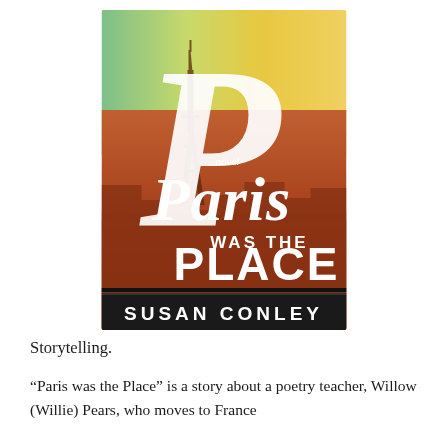[Figure (illustration): Book cover of 'Paris Was the Place' by Susan Conley. The cover shows the Eiffel Tower and Paris rooftops in a warm reddish-orange tone with a green-yellow sky. Large white decorative script reads 'Paris Was the Place' with 'novel' in small text. The author name 'SUSAN CONLEY' appears in white bold capitals on a dark band at the bottom.]
Storytelling.
“Paris was the Place” is a story about a poetry teacher, Willow (Willie) Pears, who moves to France